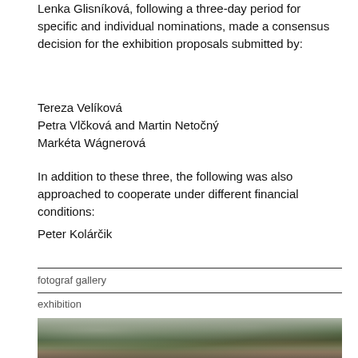Lenka Glisníková, following a three-day period for specific and individual nominations, made a consensus decision for the exhibition proposals submitted by:
Tereza Velíková
Petra Vlčková and Martin Netočný
Markéta Wágnerová
In addition to these three, the following was also approached to cooperate under different financial conditions:
Peter Kolárčik
fotograf gallery
exhibition
[Figure (photo): Outdoor photo of trees with foliage against a light sky, appearing to be an autumn or early winter scene]